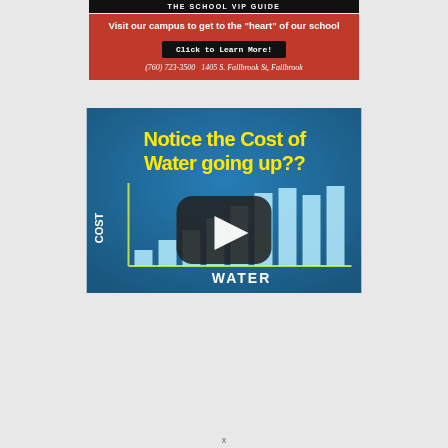THE SCHOOL VIP GUIDE
Visit our campus to get to the "heart" of our school
Click to Learn More!
(760) 723-3500   1405 S. Fallbrook St, Fallbrook
[Figure (infographic): Bar chart infographic on blue background with yellow bold text 'Notice the Cost of Water going up??' and rising light-blue bars with COST on y-axis and WATER on x-axis, with a YouTube play button overlay in the center.]